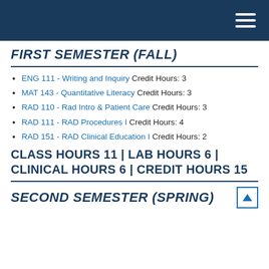Navigation bar
FIRST SEMESTER (FALL)
ENG 111 - Writing and Inquiry Credit Hours: 3
MAT 143 - Quantitative Literacy Credit Hours: 3
RAD 110 - Rad Intro & Patient Care Credit Hours: 3
RAD 111 - RAD Procedures I Credit Hours: 4
RAD 151 - RAD Clinical Education I Credit Hours: 2
CLASS HOURS 11 | LAB HOURS 6 | CLINICAL HOURS 6 | CREDIT HOURS 15
SECOND SEMESTER (SPRING)